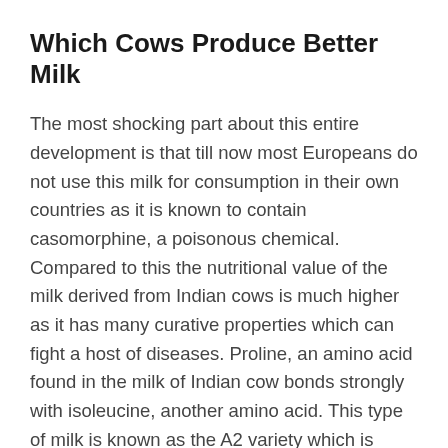Which Cows Produce Better Milk
The most shocking part about this entire development is that till now most Europeans do not use this milk for consumption in their own countries as it is known to contain casomorphine, a poisonous chemical. Compared to this the nutritional value of the milk derived from Indian cows is much higher as it has many curative properties which can fight a host of diseases. Proline, an amino acid found in the milk of Indian cow bonds strongly with isoleucine, another amino acid. This type of milk is known as the A2 variety which is capable of fighting diseases like joint pain, asthma, obesity, and even mental problems. The Indian desi cow milk is basically the A2 milk as it is cow milk in its original and natural form. The availability of high levels of Omega 3 in A2 milk cleans the deposition of cholesterol in blood vessels. Your